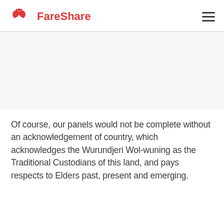FareShare
[Figure (photo): Large photo area, appears blank/white in the rendered page]
Of course, our panels would not be complete without an acknowledgement of country, which acknowledges the Wurundjeri Wol-wuning as the Traditional Custodians of this land, and pays respects to Elders past, present and emerging.